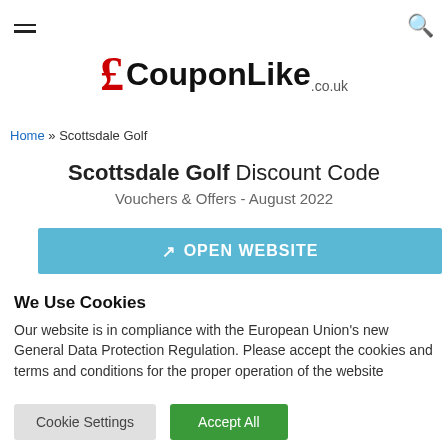CouponLike.co.uk
[Figure (logo): CouponLike.co.uk logo with red pound sign and bold black text]
Home » Scottsdale Golf
Scottsdale Golf Discount Code
Vouchers & Offers - August 2022
OPEN WEBSITE
We Use Cookies
Our website is in compliance with the European Union's new General Data Protection Regulation. Please accept the cookies and terms and conditions for the proper operation of the website
Cookie Settings  Accept All